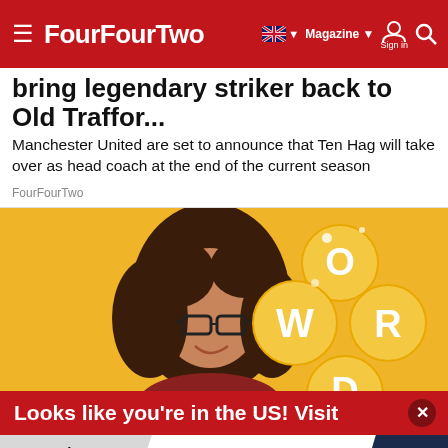FourFourTwo
bring legendary striker back to Old Traffor...
Manchester United are set to announce that Ten Hag will take over as head coach at the end of the current season
FourFourTwo
[Figure (photo): Advertisement image showing a smiling woman with curly hair and glasses looking at a word game app on a yellow background with letter bubbles showing O, W, R, D]
Looks like you're in the US! Visit
Top Junior Gold Mining Stock  Get access to the next Top mining "Micro Cap" here!  EXPLORE NOW